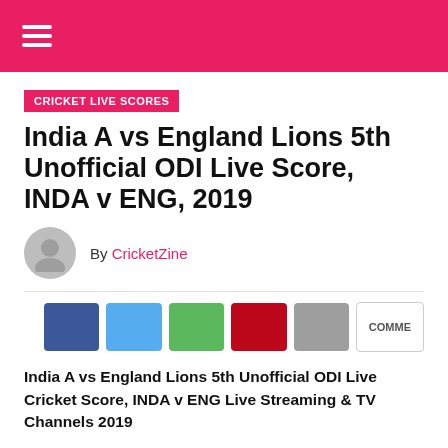CRICKET LIVE SCORES
India A vs England Lions 5th Unofficial ODI Live Score, INDA v ENG, 2019
By CricketZine
[Figure (other): Social share buttons: Facebook (blue), Twitter (light blue), WhatsApp (green), Pinterest (red), More (grey), COMMENTS (outlined)]
India A vs England Lions 5th Unofficial ODI Live Cricket Score, INDA v ENG Live Streaming & TV Channels 2019
India A v England Lions 5th Unofficial ODI match on January 31 at Greenfield International Stadium,